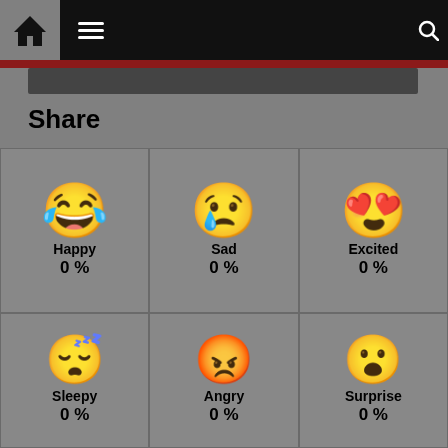Navigation header with home, menu, moon and search icons
Share
[Figure (infographic): Six emoji reaction faces in a 3x2 grid: Happy (0%), Sad (0%), Excited (0%), Sleepy (0%), Angry (0%), Surprise (0%)]